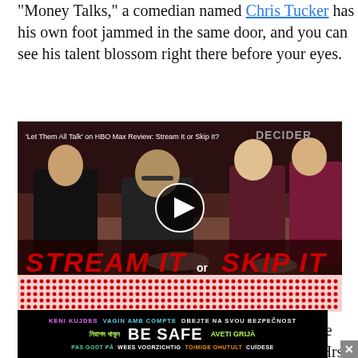“Money Talks,” a comedian named Chris Tucker has his own foot jammed in the same door, and you can see his talent blossom right there before your eyes.
[Figure (screenshot): Video thumbnail for 'Let Them All Talk' on HBO Max Review: Stream It or Skip It? on Decider. Shows four people at a dinner table. Large red text 'STREAM IT or SKIP IT' at the bottom with dotted pattern rows. Play button circle in center.]
The movie is not distinguished. It's a clone of the black-white buddy pictures, with a little of "48 Hrs." and "Lethal Weapon" and "Nothing to Lose" thrown in. The plot is so dumb that at one
[Figure (screenshot): BE SAFE multilingual public health advertisement banner in black background with colored text in multiple languages: KENI KUJDES, VAGIN AMB COMPTE, DBEJTE NA SVOU BEZPECNOST, Bengali text, BE SAFE (large white), AVETI GRIJA, PAS GODT PA, WEES VOORZICHTIG, TOIMIGE OHUTULT, CUIDESE]